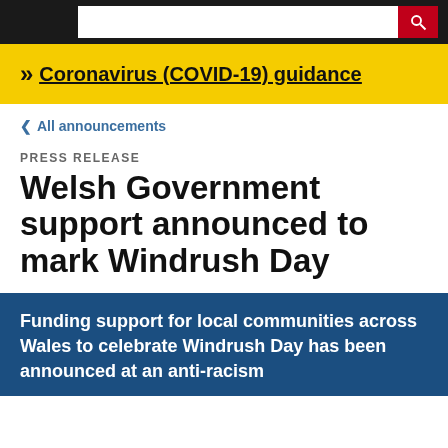Coronavirus (COVID-19) guidance
< All announcements
PRESS RELEASE
Welsh Government support announced to mark Windrush Day
Funding support for local communities across Wales to celebrate Windrush Day has been announced at an anti-racism